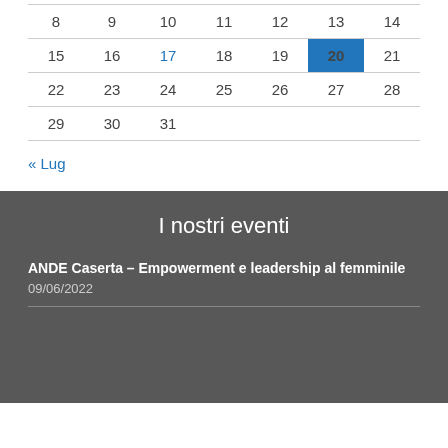| 8 | 9 | 10 | 11 | 12 | 13 | 14 |
| 15 | 16 | 17 | 18 | 19 | 20 | 21 |
| 22 | 23 | 24 | 25 | 26 | 27 | 28 |
| 29 | 30 | 31 |  |  |  |  |
« Lug
I nostri eventi
ANDE Caserta – Empowerment e leadership al femminile
09/06/2022